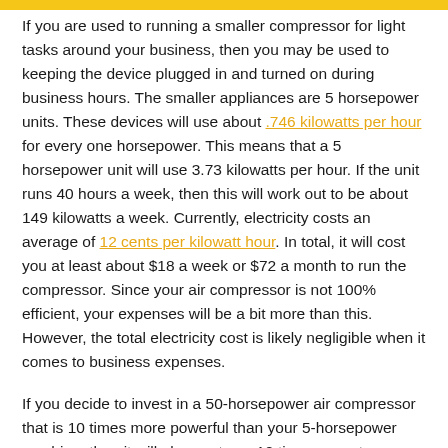If you are used to running a smaller compressor for light tasks around your business, then you may be used to keeping the device plugged in and turned on during business hours. The smaller appliances are 5 horsepower units. These devices will use about .746 kilowatts per hour for every one horsepower. This means that a 5 horsepower unit will use 3.73 kilowatts per hour. If the unit runs 40 hours a week, then this will work out to be about 149 kilowatts a week. Currently, electricity costs an average of 12 cents per kilowatt hour. In total, it will cost you at least about $18 a week or $72 a month to run the compressor. Since your air compressor is not 100% efficient, your expenses will be a bit more than this. However, the total electricity cost is likely negligible when it comes to business expenses.
If you decide to invest in a 50-horsepower air compressor that is 10 times more powerful than your 5-horsepower machine, then it will also cost you 10 times more to run